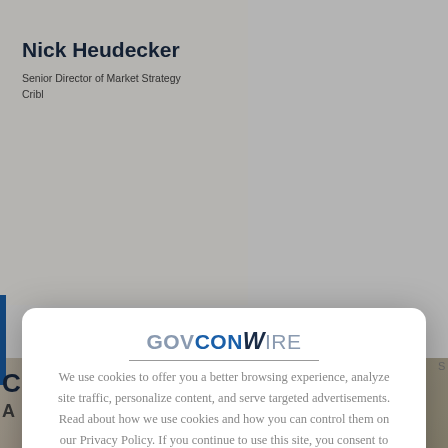[Figure (photo): Photo of Nick Heudecker, a man in a blue shirt, against a gray background]
Nick Heudecker
Senior Director of Market Strategy
Cribl
[Figure (logo): GovConWire logo with underline]
We use cookies to offer you a better browsing experience, analyze site traffic, personalize content, and serve targeted advertisements. Read about how we use cookies and how you can control them on our Privacy Policy. If you continue to use this site, you consent to our use of cookies.
X